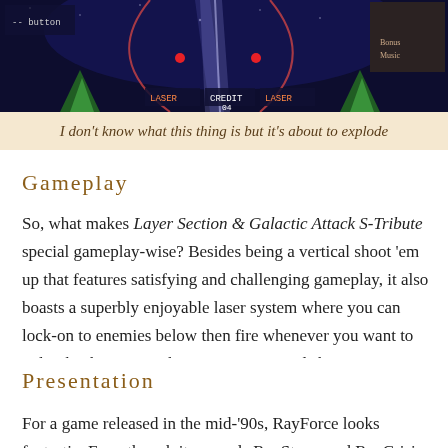[Figure (screenshot): Screenshot of a vertical shoot 'em up game (Layer Section / Galactic Attack / RayForce) showing a blue neon-lit space battle scene with lasers and enemies]
I don't know what this thing is but it's about to explode
Gameplay
So, what makes Layer Section & Galactic Attack S-Tribute special gameplay-wise? Besides being a vertical shoot 'em up that features satisfying and challenging gameplay, it also boasts a superbly enjoyable laser system where you can lock-on to enemies below then fire whenever you want to unleash a homing strike. Previous vertical shoot 'em ups such as Xevious forced you to aim and time bombs which is fun but being able to lock-on by simply scanning a reticle over enemies as you rapid-shoot a stream of bullets is just awesome. 😊
Presentation
For a game released in the mid-'90s, RayForce looks fantastic. Even though its sequels RayStorm and RayCrisis